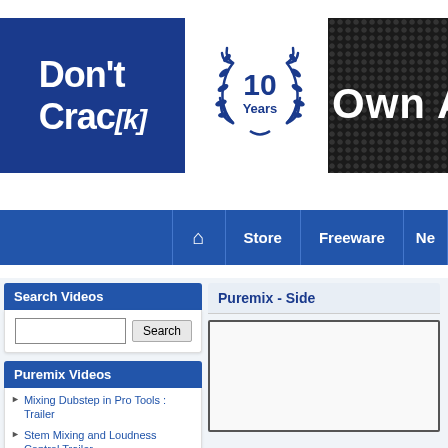[Figure (logo): Don't Crack logo - white text on blue background with italic [k]]
[Figure (illustration): 10 Years anniversary badge with laurel wreath in navy blue]
[Figure (logo): Own A - text on dark metallic/dotted background, cropped]
Navigation bar with home icon, Store, Freeware, Ne...
Search Videos
Search input field with Search button
Puremix Videos
Mixing Dubstep in Pro Tools : Trailer
Stem Mixing and Loudness Control Trailer
Mastering Song Carribean Raider Trailer
Trailer: Mixing Howlin in Pro Tools 11
Mixing Set It Off in Logic
Puremix - Side
[Figure (screenshot): Video player area, mostly white/empty with border]